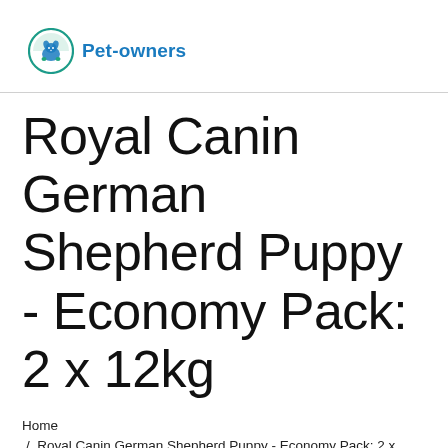Pet-owners
Royal Canin German Shepherd Puppy - Economy Pack: 2 x 12kg
Home
/ Royal Canin German Shepherd Puppy - Economy Pack: 2 x 12kg